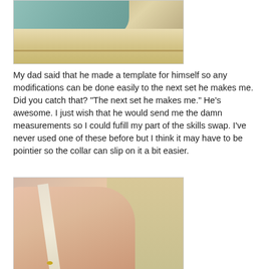[Figure (photo): A hand in a teal/green sleeve resting on a wooden shelf or board, photographed from above.]
My dad said that he made a template for himself so any modifications can be done easily to the next set he makes me. Did you catch that? "The next set he makes me." He's awesome. I just wish that he would send me the damn measurements so I could fufill my part of the skills swap. I've never used one of these before but I think it may have to be pointier so the collar can slip on it a bit easier.
[Figure (photo): A close-up of a hand holding or touching a pointed wooden object, possibly a collar point or bodkin tool.]